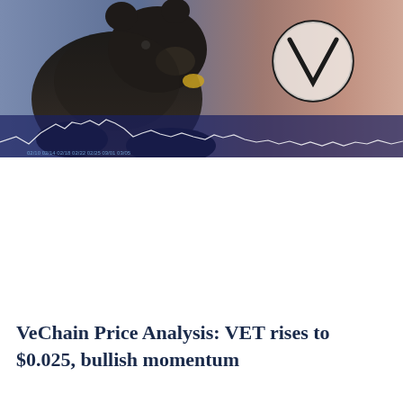[Figure (photo): Photo of a bear (animal) overlaid on a financial stock price chart with candlestick/line data visible at the bottom. The VeChain logo (letter V inside a circle) is visible in the upper right area of the image. Background has a dusky purple-orange gradient suggesting a stock market trading screen.]
VeChain Price Analysis: VET rises to $0.025, bullish momentum